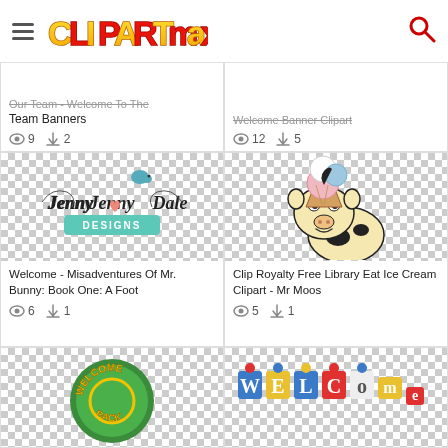ClipartMax
Our Team - Welcome To The Team Banners
views: 9  downloads: 2
Welcome Banner Clipart
views: 12  downloads: 5
[Figure (illustration): Jenny Dale Designs logo with decorative bird and banner on checkered background]
Welcome - Misadventures Of Mr. Bunny: Book One: A Foot
views: 6  downloads: 1
[Figure (illustration): Cartoon cow holding an ice cream cone on checkered background]
Clip Royalty Free Library Eat Ice Cream Clipart - Mr Moos
views: 5  downloads: 1
[Figure (illustration): Welcome Back circular badge with green and yellow design on checkered background]
[Figure (illustration): Colorful WELCOME text with decorative letters on checkered background]